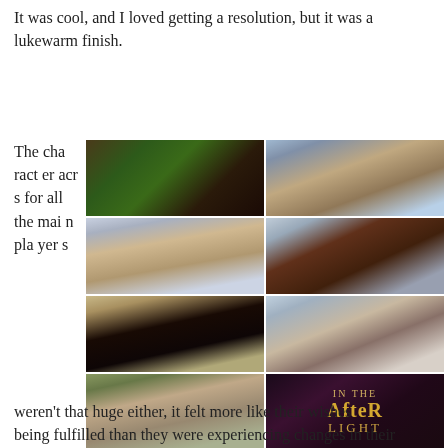It was cool, and I loved getting a resolution, but it was a lukewarm finish.
[Figure (photo): A collage of character photos for a book called 'In the After Light'. Top row: a dragon/monster close-up and a young woman with dark hair. Middle rows: two young men, a young woman with long dark hair, and a young child. Bottom row: a man with stubble and the book cover 'In the After Light'.]
The characters for all the main players weren't that huge either, it felt more like their wishes being fulfilled than they were experiencing changes in their